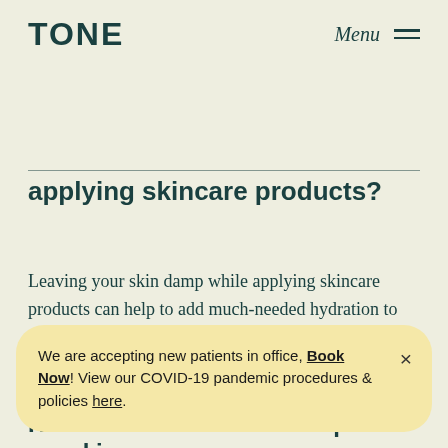TONE Menu
applying skincare products?
Leaving your skin damp while applying skincare products can help to add much-needed hydration to your skin. One exception is retinol products — make sure that your skin is completely dry to avoid irritation.
How often should I add steps to my skincare
We are accepting new patients in office, Book Now! View our COVID-19 pandemic procedures & policies here.